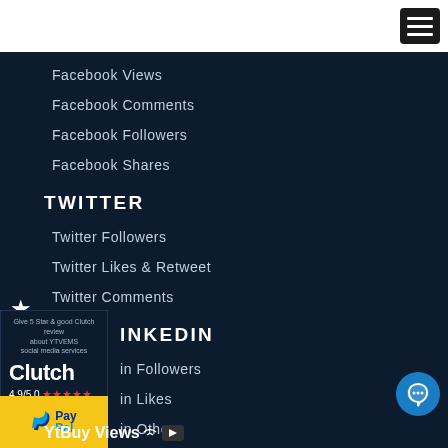Facebook Views
Facebook Comments
Facebook Followers
Facebook Shares
TWITTER
Twitter Followers
Twitter Likes & Retweet
Twitter Comments
INKEDIN
in Followers
in Likes
in Others
[Figure (logo): Clutch review badge with rating 4.9/5.0 and five red stars, text says Give 5 Star & good Clutch review about YTVEMS social media services]
[Figure (logo): PayPal logo on yellow background with blue P icon and Pay/Pal text]
[Figure (illustration): Blue circular chat bubble icon]
[Figure (logo): YtBuy Views logo with wifi signal icon and YouTube play button]